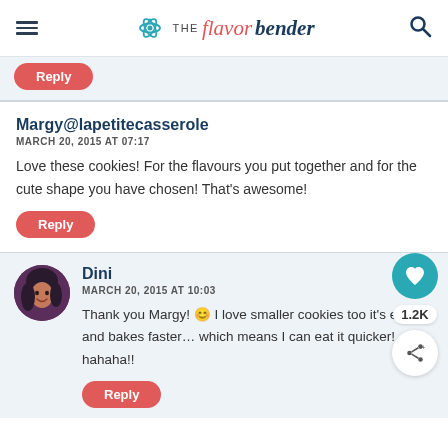THE flavor bender
Reply
Margy@lapetitecasserole
MARCH 20, 2015 AT 07:17
Love these cookies! For the flavours you put together and for the cute shape you have chosen! That's awesome!
Reply
Dini
MARCH 20, 2015 AT 10:03
Thank you Margy! 😊 I love smaller cookies too it's easier, and bakes faster… which means I can eat it quicker! hahaha!!
Reply